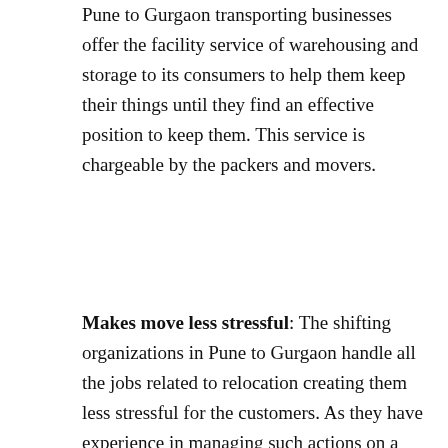Pune to Gurgaon transporting businesses offer the facility service of warehousing and storage to its consumers to help them keep their things until they find an effective position to keep them. This service is chargeable by the packers and movers.
Makes move less stressful: The shifting organizations in Pune to Gurgaon handle all the jobs related to relocation creating them less stressful for the customers. As they have experience in managing such actions on a regular base, you are able to remain assured of the secure distribution of all of your things. You can use your time doing other important tasks and keep relaxed while they are on the task!!!
[Figure (illustration): Orange circle with white phone/call icon]
[Figure (logo): Blue and red badge with text: Get Free Quote, Click Here, No Commission, NO FROUD, Only For Packers and Movers]
[Figure (illustration): Green WhatsApp circle icon with phone handset]
Keeps You Secure: Skilled full-service Movers and Packers in Pune to Gurgaon will keep you safe from accidents and probably hazardous situations. They'll do all